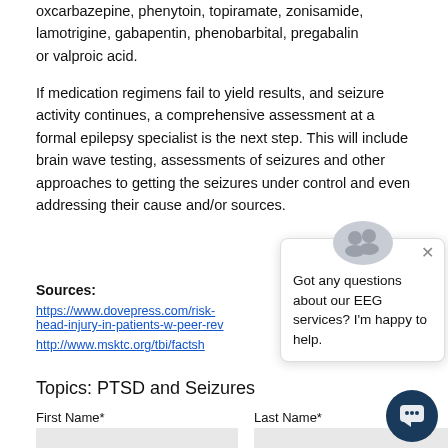...oxcarbazepine, phenytoin, topiramate, zonisamide, lamotrigine, gabapentin, phenobarbital, pregabalin or valproic acid.
If medication regimens fail to yield results, and seizure activity continues, a comprehensive assessment at a formal epilepsy specialist is the next step. This will include brain wave testing, assessments of seizures and other approaches to getting the seizures under control and even addressing their cause and/or sources.
Sources:
https://www.dovepress.com/risk-head-injury-in-patients-w-peer-rev
http://www.msktc.org/tbi/factsh
Topics: PTSD and Seizures
First Name*
Last Name*
[Figure (screenshot): Chat popup overlay with two user avatars, close button (×), and text: 'Got any questions about our EEG services? I'm happy to help.' A dark blue circular chat button is visible in the bottom right.]